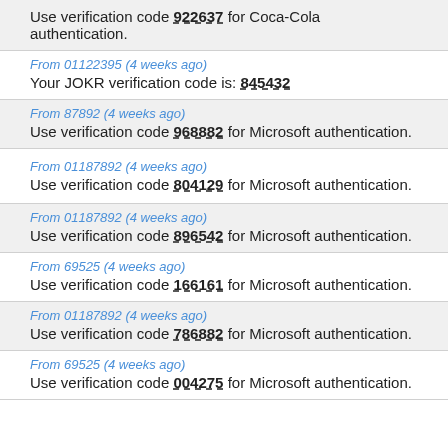Use verification code 922637 for Coca-Cola authentication.
From 01122395 (4 weeks ago)
Your JOKR verification code is: 845432
From 87892 (4 weeks ago)
Use verification code 968882 for Microsoft authentication.
From 01187892 (4 weeks ago)
Use verification code 804129 for Microsoft authentication.
From 01187892 (4 weeks ago)
Use verification code 896542 for Microsoft authentication.
From 69525 (4 weeks ago)
Use verification code 166161 for Microsoft authentication.
From 01187892 (4 weeks ago)
Use verification code 786882 for Microsoft authentication.
From 69525 (4 weeks ago)
Use verification code 004275 for Microsoft authentication.